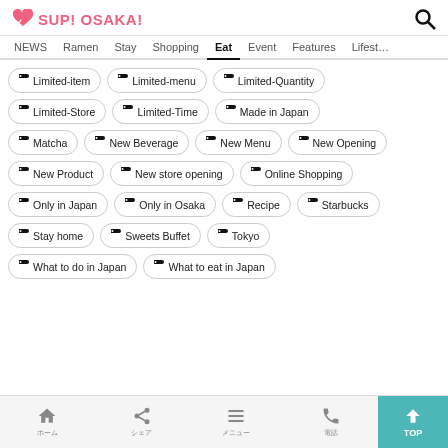SUP! OSAKA!
NEWS | Ramen | Stay | Shopping | Eat | Event | Features | Lifestyle
Limited-item
Limited-menu
Limited-Quantity
Limited-Store
Limited-Time
Made in Japan
Matcha
New Beverage
New Menu
New Opening
New Product
New store opening
Online Shopping
Only in Japan
Only in Osaka
Recipe
Starbucks
Stay home
Sweets Buffet
Tokyo
What to do in Japan
What to eat in Japan
HOME | SHARE | MENU | CALL | TOP